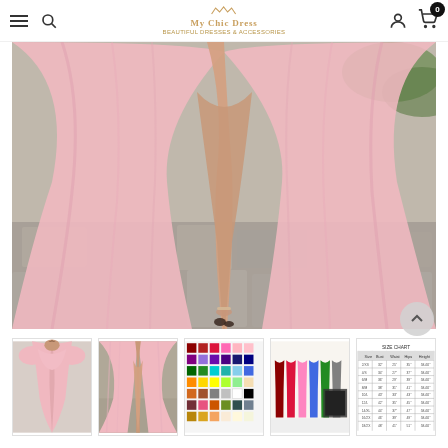Navigation bar with hamburger menu, search icon, logo, user icon, and cart (0)
[Figure (photo): Close-up photo of a woman wearing a flowing pink tulle ballgown with a high front slit, standing on a stone-paved outdoor area. The dress is voluminous and light pink in color.]
[Figure (photo): Thumbnail 1: Full-length view of woman in pink off-shoulder tulle gown]
[Figure (photo): Thumbnail 2: Lower body close-up of the pink tulle dress with slit]
[Figure (photo): Thumbnail 3: Color swatch chart showing various fabric colors]
[Figure (photo): Thumbnail 4: Size comparison chart with dress silhouettes in various colors]
[Figure (photo): Thumbnail 5: Size measurement chart/table]